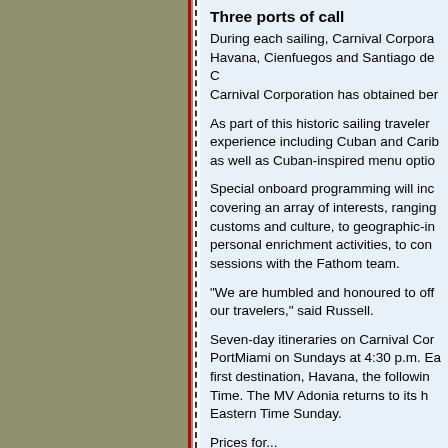Three ports of call
During each sailing, Carnival Corporation will call on Havana, Cienfuegos and Santiago de Cuba. Carnival Corporation has obtained ber...
As part of this historic sailing travelers will experience including Cuban and Caribbean... as well as Cuban-inspired menu options...
Special onboard programming will include... covering an array of interests, ranging from customs and culture, to geographic-inspired personal enrichment activities, to conversations sessions with the Fathom team.
"We are humbled and honoured to offer... our travelers," said Russell.
Seven-day itineraries on Carnival Corporation depart PortMiami on Sundays at 4:30 p.m. Eastern first destination, Havana, the following... Time. The MV Adonia returns to its homeport Eastern Time Sunday.
Prices for...